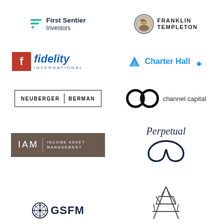[Figure (logo): First Sentier Investors logo — teal geometric slash marks with company name in dark navy]
[Figure (logo): Franklin Templeton logo — circular portrait medallion with FRANKLIN TEMPLETON in bold uppercase]
[Figure (logo): Fidelity International logo — red square with F, Fidelity in blue italic, INTERNATIONAL below]
[Figure (logo): Charter Hall logo — blue text Charter Hall with diamond/chevron shape]
[Figure (logo): Neuberger Berman logo — NEUBERGER | BERMAN in black uppercase with rectangular border]
[Figure (logo): channel capital logo — two overlapping rings and lowercase text]
[Figure (logo): IAM Income Asset Management logo — white text on dark brown/taupe background]
[Figure (logo): Perpetual logo — italic serif Perpetual with stylised infinity/figure-8 swash in navy]
[Figure (logo): GSFM logo — circular compass icon with bold navy GSFM text]
[Figure (logo): Power transmission tower/pylon — partial logo at bottom right]